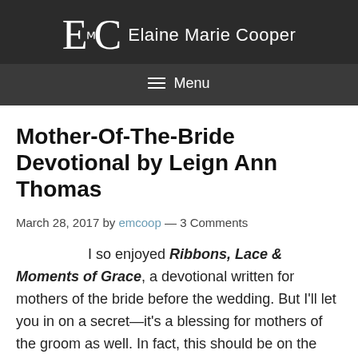EC Elaine Marie Cooper
Menu
Mother-Of-The-Bride Devotional by Leign Ann Thomas
March 28, 2017 by emcoop — 3 Comments
I so enjoyed Ribbons, Lace & Moments of Grace, a devotional written for mothers of the bride before the wedding. But I'll let you in on a secret—it's a blessing for mothers of the groom as well. In fact, this should be on the must read